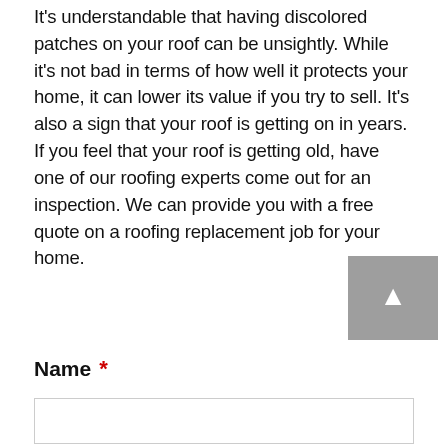It's understandable that having discolored patches on your roof can be unsightly. While it's not bad in terms of how well it protects your home, it can lower its value if you try to sell. It's also a sign that your roof is getting on in years. If you feel that your roof is getting old, have one of our roofing experts come out for an inspection. We can provide you with a free quote on a roofing replacement job for your home.
[Figure (other): Grey scroll-to-top button with white upward chevron arrow]
Name *
(empty text input field)